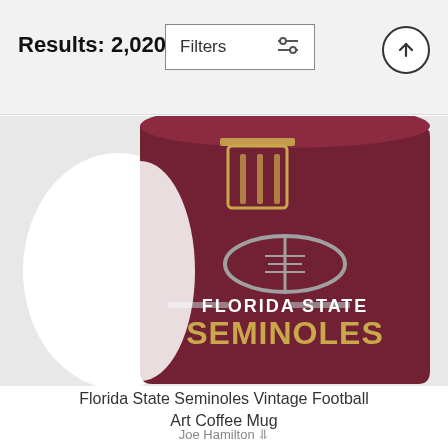Results: 2,020
[Figure (photo): Florida State Seminoles Vintage Football Art Coffee Mug showing a dark maroon mug with FSU football helmet graphic, football icon, and text FLORIDA STATE SEMINOLES in gold and white lettering]
Florida State Seminoles Vintage Football Art Coffee Mug
Joe Hamilton
$17